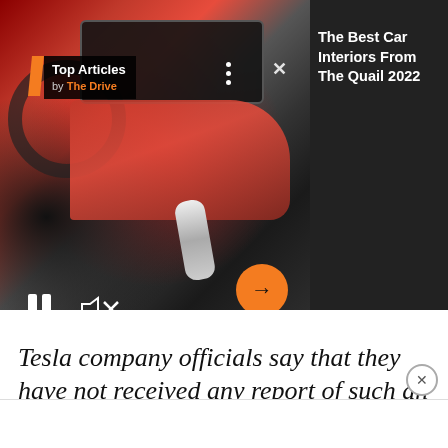[Figure (screenshot): Ad overlay showing a car interior photo (red dashboard, BMW-style steering wheel) with 'Top Articles by The Drive' badge, video playback controls (pause, mute), three-dot menu, X close button, and orange arrow button. Right side shows dark background with article title.]
The Best Car Interiors From The Quail 2022
Tesla company officials say that they have not received any report of such an incident.